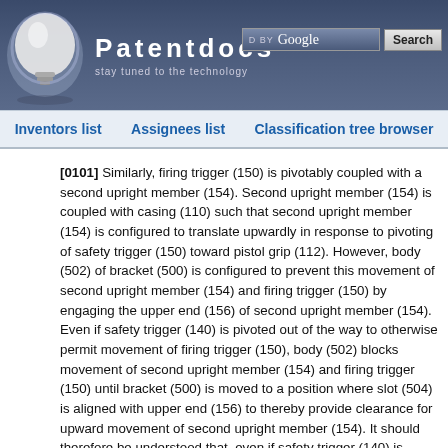Patentdocs — stay tuned to the technology
Inventors list | Assignees list | Classification tree browser
[0101] Similarly, firing trigger (150) is pivotably coupled with a second upright member (154). Second upright member (154) is coupled with casing (110) such that second upright member (154) is configured to translate upwardly in response to pivoting of safety trigger (150) toward pistol grip (112). However, body (502) of bracket (500) is configured to prevent this movement of second upright member (154) and firing trigger (150) by engaging the upper end (156) of second upright member (154). Even if safety trigger (140) is pivoted out of the way to otherwise permit movement of firing trigger (150), body (502) blocks movement of second upright member (154) and firing trigger (150) until bracket (500) is moved to a position where slot (504) is aligned with upper end (156) to thereby provide clearance for upward movement of second upright member (154). It should therefore be understood that, even if safety trigger (140) is pivoted out of the way to otherwise permit movement of firing trigger (150), firing trigger (150) cannot be pivoted toward pistol grip (112)